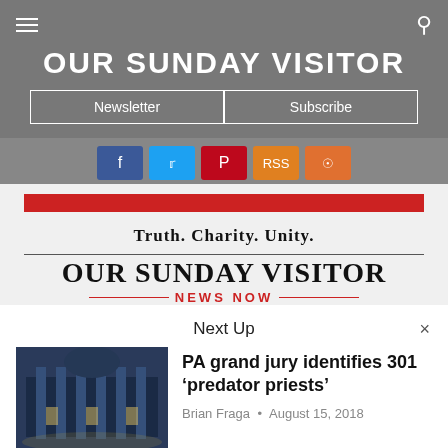OUR SUNDAY VISITOR
Newsletter | Subscribe
[Figure (other): Social media icons row: Facebook, Twitter, Pinterest, RSS, Instagram]
Truth. Charity. Unity.
[Figure (logo): Our Sunday Visitor News Now logo with red double-line rule and red NEWS NOW text]
Next Up
[Figure (photo): Thumbnail photo of a grand building at night with columns and dome]
PA grand jury identifies 301 ‘predator priests’
Brian Fraga • August 15, 2018